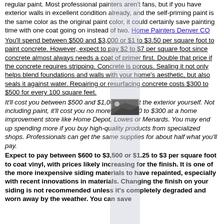regular paint. Most professional painters aren't fans, but if you have exterior walls in excellent condition already, and the self-priming paint is the same color as the original paint color, it could certainly save painting time with one coat going on instead of two. Home Painters Denver CO
You'll spend between $500 and $3,000 or $1 to $3.50 per square foot to paint concrete. However, expect to pay $2 to $7 per square foot since concrete almost always needs a coat of primer first. Double that price if the concrete requires stripping. Concrete is porous. Sealing it not only helps blend foundations and walls with your home's aesthetic, but also seals it against water. Repairing or resurfacing concrete costs $300 to $500 for every 100 square feet.
It'll cost you between $500 and $1,000 to paint the exterior yourself. Not including paint, it'll cost you no more than $200 to $300 at a home improvement store like Home Depot, Lowes or Menards. You may end up spending more if you buy high-quality products from specialized shops. Professionals can get the same supplies for about half what you'll pay.
Expect to pay between $600 to $3,500 or $1.25 to $3 per square foot to coat vinyl, with prices likely increasing for the finish. It is one of the more inexpensive siding materials to have repainted, especially with recent innovations in materials. Changing the finish on your siding is not recommended unless it's completely degraded and worn away by the weather. You can save...